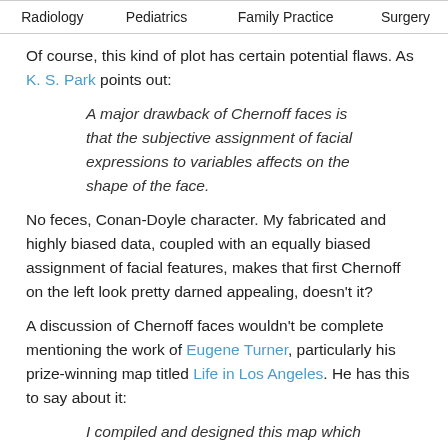| Radiology | Pediatrics | Family Practice | Surgery |
| --- | --- | --- | --- |
Of course, this kind of plot has certain potential flaws. As K. S. Park points out:
A major drawback of Chernoff faces is that the subjective assignment of facial expressions to variables affects on the shape of the face.
No feces, Conan-Doyle character. My fabricated and highly biased data, coupled with an equally biased assignment of facial features, makes that first Chernoff on the left look pretty darned appealing, doesn't it?
A discussion of Chernoff faces wouldn't be complete mentioning the work of Eugene Turner, particularly his prize-winning map titled Life in Los Angeles. He has this to say about it:
I compiled and designed this map which was drafted by Richard Doss. It was an idea based on Chernoff faces. It is probably one of the most interesting maps I've created because the